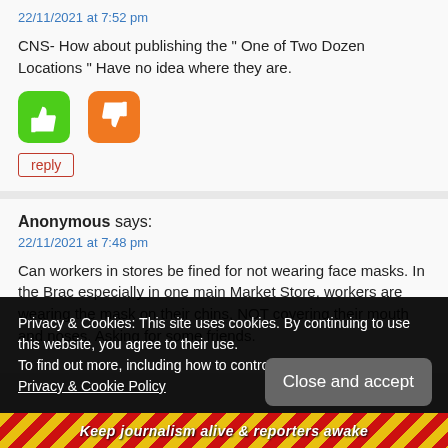22/11/2021 at 7:52 pm
CNS- How about publishing the " One of Two Dozen Locations " Have no idea where they are.
[Figure (illustration): Green thumbs-up button and orange thumbs-down button]
reply
Anonymous says:
22/11/2021 at 7:48 pm
Can workers in stores be fined for not wearing face masks. In the Brac especially in one main Market Store, workers are wearing the mask on their chins, NOT covering their mouth and noses. Asking for some friends.
Privacy & Cookies: This site uses cookies. By continuing to use this website, you agree to their use.
To find out more, including how to control cookies, see here: Privacy & Cookie Policy
Close and accept
Keep journalism alive & reporters awake